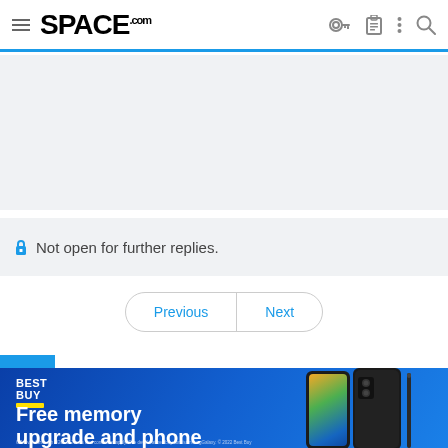SPACE.com
[Figure (other): Grey placeholder area for content]
Not open for further replies.
Previous  Next
[Figure (other): Best Buy advertisement banner: Free memory upgrade and phone case when you pre-order the new Samsung Galaxy Z Series with qualified activation. Pre-Order Now button. Shows image of Samsung Galaxy Z Fold phone.]